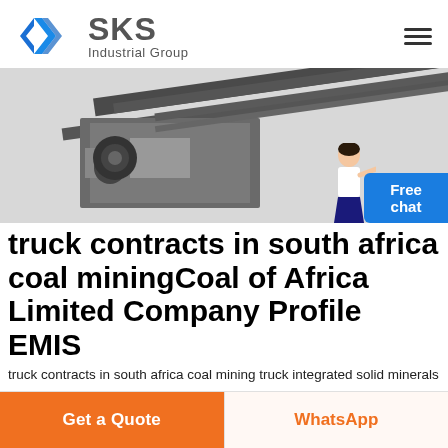[Figure (logo): SKS Industrial Group logo with blue diamond/arrow icon and grey SKS text with Industrial Group subtitle]
[Figure (photo): Industrial mining conveyor/crusher machine in grey and black, with a person (customer service representative) illustration on the right side and a blue Free chat button]
truck contracts in south africa coal miningCoal of Africa Limited Company Profile EMIS
truck contracts in south africa coal mining truck integrated solid minerals processing company zamfara coal transfer conveyor manufacturer in china thermal and coking coal Based
Get a Quote
WhatsApp